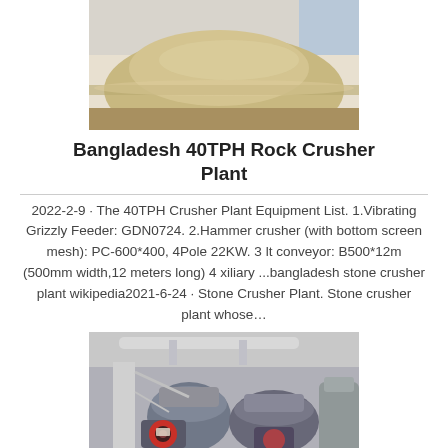[Figure (photo): Overhead photo of a pile of crushed rock/sand aggregate at a crusher plant site]
Bangladesh 40TPH Rock Crusher Plant
2022-2-9 · The 40TPH Crusher Plant Equipment List. 1.Vibrating Grizzly Feeder: GDN0724. 2.Hammer crusher (with bottom screen mesh): PC-600*400, 4Pole 22KW. 3 lt conveyor: B500*12m (500mm width,12 meters long) 4 xiliary ...bangladesh stone crusher plant wikipedia2021-6-24 · Stone Crusher Plant. Stone crusher plant whose…
[Figure (photo): Industrial photo showing crusher machinery equipment inside a plant — cone crushers with motors visible]